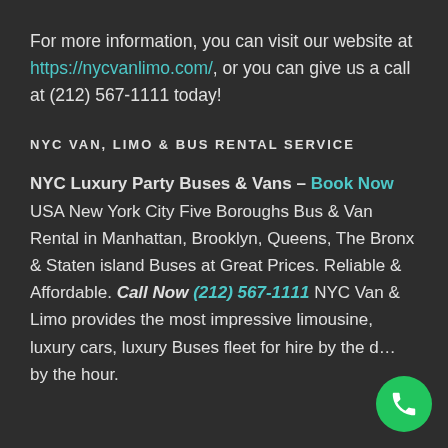For more information, you can visit our website at https://nycvanlimo.com/, or you can give us a call at (212) 567-1111 today!
NYC VAN, LIMO & BUS RENTAL SERVICE
NYC Luxury Party Buses & Vans – Book Now USA New York City Five Boroughs Bus & Van Rental in Manhattan, Brooklyn, Queens, The Bronx & Staten island Buses at Great Prices. Reliable & Affordable. Call Now (212) 567-1111 NYC Van & Limo provides the most impressive limousine, luxury cars, luxury Buses fleet for hire by the day, by the hour.